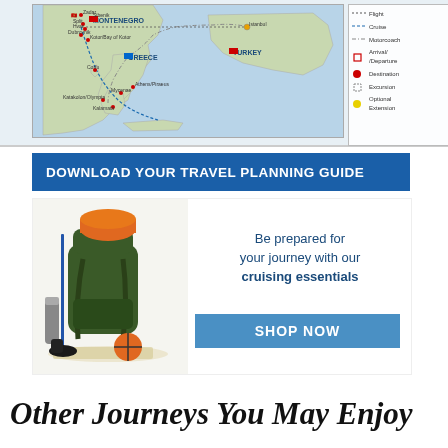[Figure (map): Travel route map showing Montenegro, Greece, and Turkey with cruise/motorcoach route markings, destination pins for locations including Dubrovnik, Kotor/Bay of Kotor, Split, Hvar, Zadar, Sibenik, Corfu, Athens/Piraeus, Mycenae, Kalamata, Katakolon/Olympia, Istanbul. Legend shows Flight, Cruise, Motorcoach, Arrival/Departure, Destination, Excursion, Optional Extension.]
DOWNLOAD YOUR TRAVEL PLANNING GUIDE
[Figure (photo): Photo of a traveler backpack with orange sleeping bag roll, hiking gear, map, thermos/water bottle, compass, and travel accessories on white background with text 'Be prepared for your journey with our cruising essentials' and a blue 'SHOP NOW' button.]
Other Journeys You May Enjoy